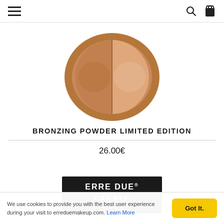Navigation menu, search and shopping bag icons
[Figure (photo): Top half of a round bronzing powder compact showing two-tone bronze and peach shimmer pans in a brown circular case]
BRONZING POWDER LIMITED EDITION
26.00€
[Figure (photo): Black rectangular box for ERRE DUE CAT EYE LOVER product, partially visible at bottom of page]
We use cookies to provide you with the best user experience during your visit to erreduemakeup.com. Learn More